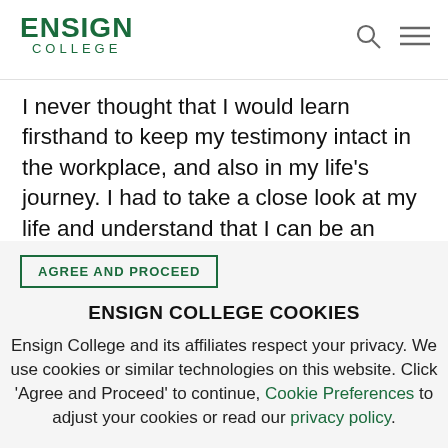[Figure (logo): Ensign College logo with bold green text 'ENSIGN' above and 'COLLEGE' in spaced letters below, dark green color]
I never thought that I would learn firsthand to keep my testimony intact in the workplace, and also in my life's journey. I had to take a close look at my life and understand that I can be an authentic member of God and be able to achieve in this world at the same time.
AGREE AND PROCEED
ENSIGN COLLEGE COOKIES
Ensign College and its affiliates respect your privacy. We use cookies or similar technologies on this website. Click 'Agree and Proceed' to continue, Cookie Preferences to adjust your cookies or read our privacy policy.